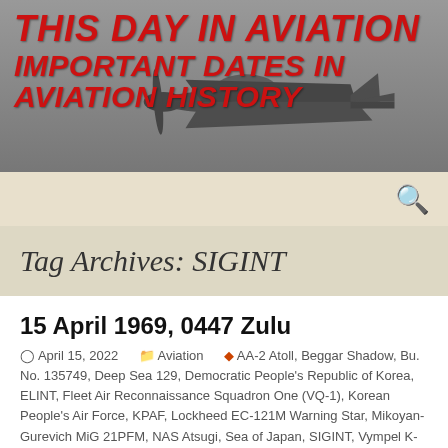[Figure (photo): Website header banner with dark gray background showing a WWII-era fighter aircraft (appears to be a P-51 Mustang) silhouette, overlaid with the site title in large red italic bold text: 'This Day in Aviation - Important Dates in Aviation History']
This Day in Aviation
Important Dates in Aviation History
Tag Archives: SIGINT
15 April 1969, 0447 Zulu
April 15, 2022   Aviation   AA-2 Atoll, Beggar Shadow, Bu. No. 135749, Deep Sea 129, Democratic People's Republic of Korea, ELINT, Fleet Air Reconnaissance Squadron One (VQ-1), Korean People's Air Force, KPAF, Lockheed EC-121M Warning Star, Mikoyan-Gurevich MiG 21PFM, NAS Atsugi, Sea of Japan, SIGINT, Vympel K-